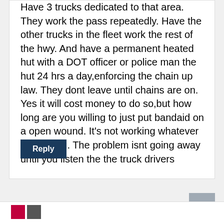Have 3 trucks dedicated to that area. They work the pass repeatedly. Have the other trucks in the fleet work the rest of the hwy. And have a permanent heated hut with a DOT officer or police man the hut 24 hrs a day,enforcing the chain up law. They dont leave until chains are on. Yes it will cost money to do so,but how long are you willing to just put bandaid on a open wound. It’s not working whatever your doing. The problem isnt going away until you listen the the truck drivers